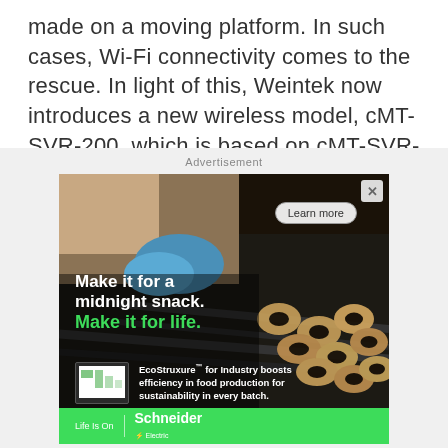made on a moving platform. In such cases, Wi-Fi connectivity comes to the rescue. In light of this, Weintek now introduces a new wireless model, cMT-SVR-200, which is based on cMT-SVR-100 with added Wi-Fi connectivity.
Advertisement
[Figure (photo): Schneider Electric advertisement showing a food production conveyor with donuts, featuring EcoStruxure for Industry product and 'Make it for a midnight snack. Make it for life.' tagline.]